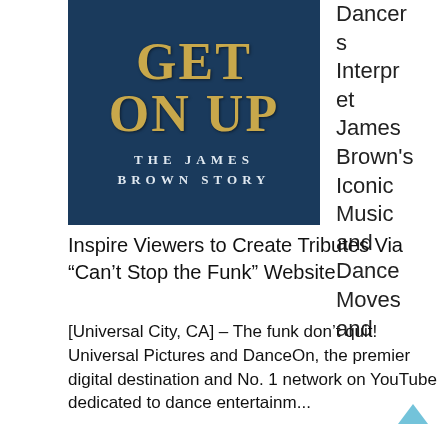[Figure (illustration): Movie poster / book cover for 'Get On Up: The James Brown Story' — dark navy blue background with large gold serif text 'GET ON UP' and white spaced letters below reading 'THE JAMES BROWN STORY']
Dancers Interpret James Brown's Iconic Music and Dance Moves and Inspire Viewers to Create Tributes Via “Can’t Stop the Funk” Website
[Universal City, CA] – The funk don’t quit! Universal Pictures and DanceOn, the premier digital destination and No. 1 network on YouTube dedicated to dance entertainment,